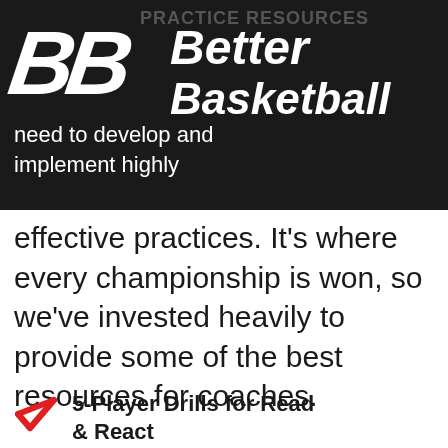[Figure (logo): Better Basketball logo with two bold italic B letters and brand name 'Better Basketball' on dark background]
need to develop and implement highly effective practices. It's where every championship is won, so we've invested heavily to provide some of the best resources for coaches.
5-Player Drills for Read & React